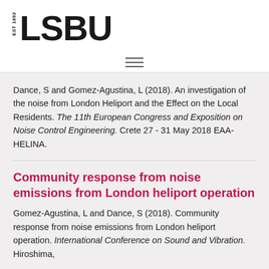[Figure (logo): LSBU logo with EST 1892 text and large bold LSBU lettering]
Dance, S and Gomez-Agustina, L (2018). An investigation of the noise from London Heliport and the Effect on the Local Residents. The 11th European Congress and Exposition on Noise Control Engineering. Crete 27 - 31 May 2018 EAA-HELINA.
Community response from noise emissions from London heliport operation
Gomez-Agustina, L and Dance, S (2018). Community response from noise emissions from London heliport operation. International Conference on Sound and Vibration. Hiroshima,